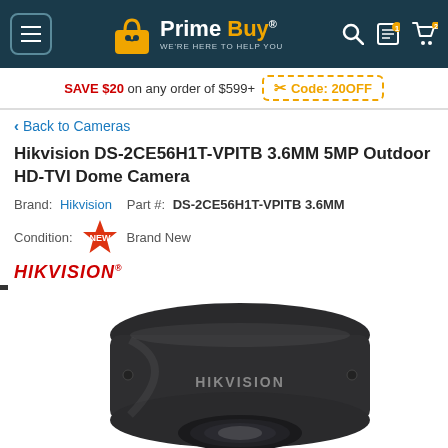Prime Buy® — WE'RE HERE TO HELP YOU
SAVE $20 on any order of $599+ Code: 20OFF
< Back to Cameras
Hikvision DS-2CE56H1T-VPITB 3.6MM 5MP Outdoor HD-TVI Dome Camera
Brand: Hikvision   Part #: DS-2CE56H1T-VPITB 3.6MM
Condition: NEW Brand New
HIKVISION®
[Figure (photo): Hikvision DS-2CE56H1T-VPITB dark grey outdoor dome camera, viewed from above at an angle, showing the dome camera housing with HIKVISION branding on the side and a transparent dome lens cover at the bottom.]